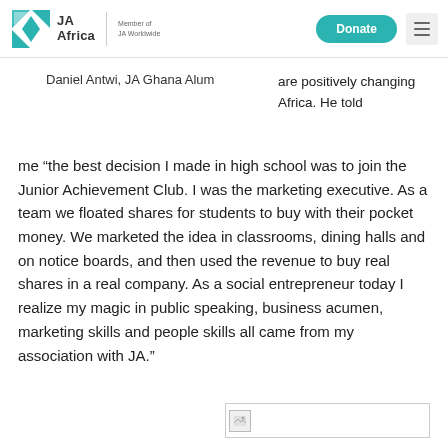JA Africa | Member of JA Worldwide | Donate
Daniel Antwi, JA Ghana Alum
are positively changing Africa. He told me “the best decision I made in high school was to join the Junior Achievement Club. I was the marketing executive. As a team we floated shares for students to buy with their pocket money. We marketed the idea in classrooms, dining halls and on notice boards, and then used the revenue to buy real shares in a real company. As a social entrepreneur today I realize my magic in public speaking, business acumen, marketing skills and people skills all came from my association with JA.”
[Figure (photo): Image placeholder at bottom right of page]